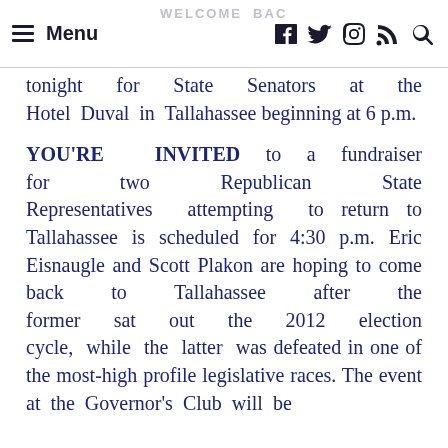WELCOME BACK RECEPTION Menu [social icons]
tonight for State Senators at the Hotel Duval in Tallahassee beginning at 6 p.m.
YOU'RE INVITED to a fundraiser for two Republican State Representatives attempting to return to Tallahassee is scheduled for 4:30 p.m. Eric Eisnaugle and Scott Plakon are hoping to come back to Tallahassee after the former sat out the 2012 election cycle, while the latter was defeated in one of the most-high profile legislative races. The event at the Governor's Club will be